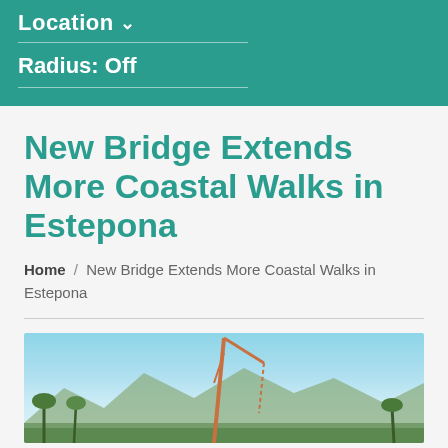Location ∨
Radius: Off
New Bridge Extends More Coastal Walks in Estepona
Home / New Bridge Extends More Coastal Walks in Estepona
[Figure (photo): Outdoor photo showing a crane or bridge construction against a blue sky with mountains in the background and vegetation below]